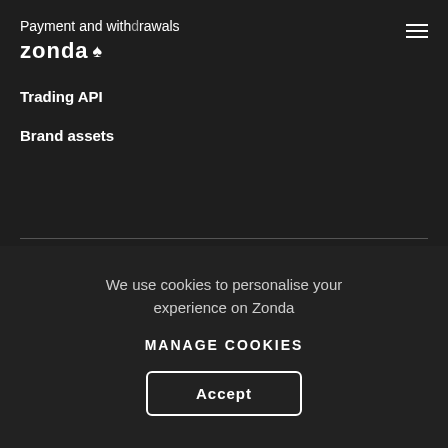Payment and withdrawals
[Figure (logo): Zonda logo with tree/spade icon]
Trading API
Brand assets
We use cookies to personalise your experience on Zonda
Manage Cookies
Accept